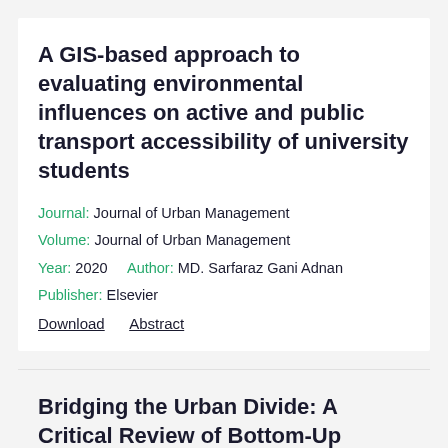A GIS-based approach to evaluating environmental influences on active and public transport accessibility of university students
Journal: Journal of Urban Management
Volume: Journal of Urban Management
Year: 2020    Author: MD. Sarfaraz Gani Adnan
Publisher: Elsevier
Download   Abstract
Bridging the Urban Divide: A Critical Review of Bottom-Up